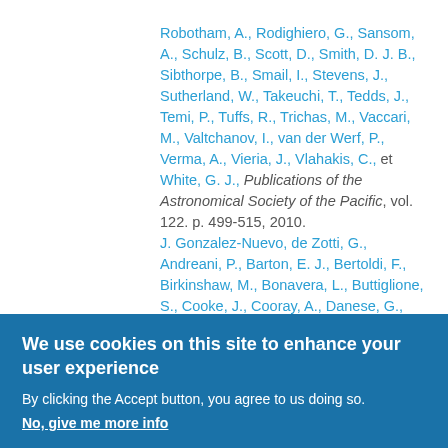Robotham, A., Rodighiero, G., Sansom, A., Schulz, B., Scott, D., Smith, D. J. B., Sibthorpe, B., Smail, I., Stevens, J., Sutherland, W., Takeuchi, T., Tedds, J., Temi, P., Tuffs, R., Trichas, M., Vaccari, M., Valtchanov, I., van der Werf, P., Verma, A., Vieria, J., Vlahakis, C., et White, G. J., Publications of the Astronomical Society of the Pacific, vol. 122. p. 499-515, 2010.
J. Gonzalez-Nuevo, de Zotti, G., Andreani, P., Barton, E. J., Bertoldi, F., Birkinshaw, M., Bonavera, L., Buttiglione, S., Cooke, J., Cooray, A., Danese, G., Dunne, L., Eales, S., Fan, L., Jarvis, M. J., Klockner, H. R., Hatziminaoglou, E., Herranz, D., Hughes, D. H., Lapi, A., Lawrence, A., Leeuw, L., Lopez-Caniego, M., Massardi, M., Mouch, T., Michalowski, M. J.,
We use cookies on this site to enhance your user experience
By clicking the Accept button, you agree to us doing so.
No, give me more info